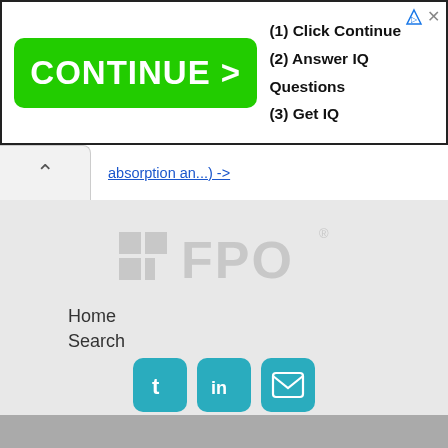[Figure (screenshot): Advertisement banner with green CONTINUE button and text: (1) Click Continue, (2) Answer IQ Questions, (3) Get IQ]
absorption an...) ->
[Figure (logo): FPO placeholder logo in light gray]
Home
Search
Services
Contact us
[Figure (illustration): Three social media icon buttons: Twitter (t), LinkedIn (in), Email (envelope)]